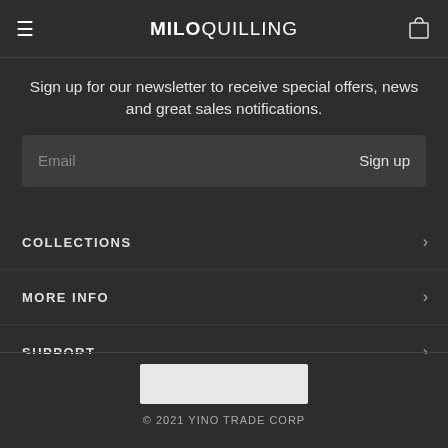MILOQUILLING
Sign up for our newsletter to receive special offers, news and great sales notifications.
Email  Sign up
COLLECTIONS
MORE INFO
SUPPORT
© 2021 YINO TRADE CORP